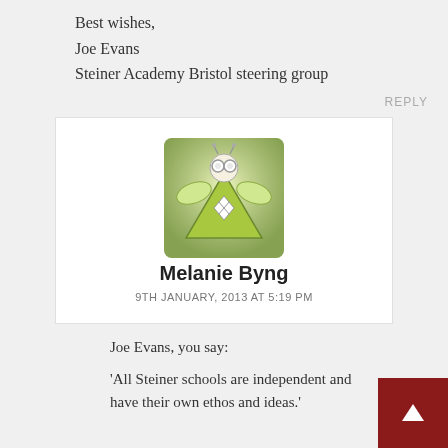Best wishes,
Joe Evans
Steiner Academy Bristol steering group
REPLY
[Figure (illustration): Avatar icon of a stylized angel/fairy figure with green triangular body and wings, with goggle-like eyes]
Melanie Byng
9TH JANUARY, 2013 AT 5:19 PM
Joe Evans, you say:
'All Steiner schools are independent and have their own ethos and ideas.'